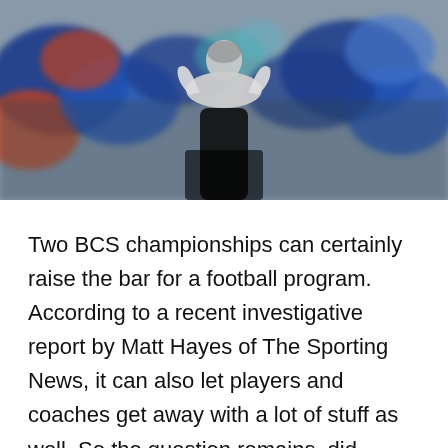[Figure (photo): A blurred crowd/stadium photo with a silhouetted figure (coach) in the foreground, crowd wearing blue and orange colors visible in the background]
Two BCS championships can certainly raise the bar for a football program. According to a recent investigative report by Matt Hayes of The Sporting News, it can also let players and coaches get away with a lot of stuff as well. So the question remains, did Urban Meyer break Florida football?
According to the report published by The